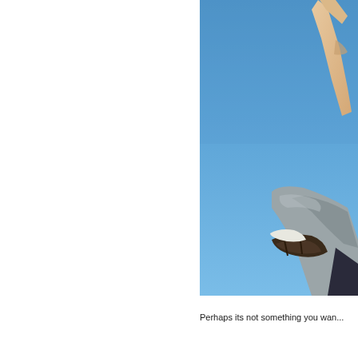[Figure (photo): A person jumping in the air against a clear blue sky, photographed from below. Their arm is raised upward and their legs are bent, wearing sandals and light grey pants.]
Perhaps its not something you wan...